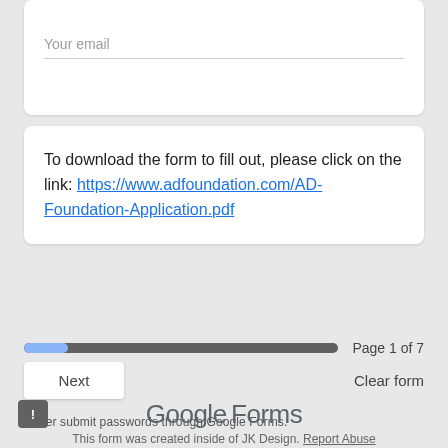Your email
To download the form to fill out, please click on the link: https://www.adfoundation.com/AD-Foundation-Application.pdf
Page 1 of 7
Next
Clear form
Never submit passwords through Google Forms.
This form was created inside of JK Design. Report Abuse
Google Forms